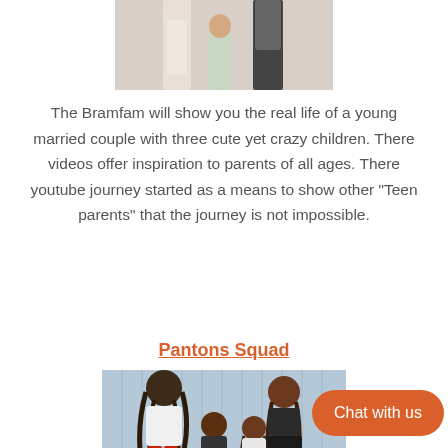[Figure (photo): Photo of a family (partial view showing legs/children) — top portion of image cropped]
The Bramfam will show you the real life of a young married couple with three cute yet crazy children. There videos offer inspiration to parents of all ages. There youtube journey started as a means to show other "Teen parents" that the journey is not impossible.
Pantons Squad
[Figure (photo): Photo of a family group — man with dreadlocks, woman, and children posing together in front of a light blue curtain background]
Chat with us